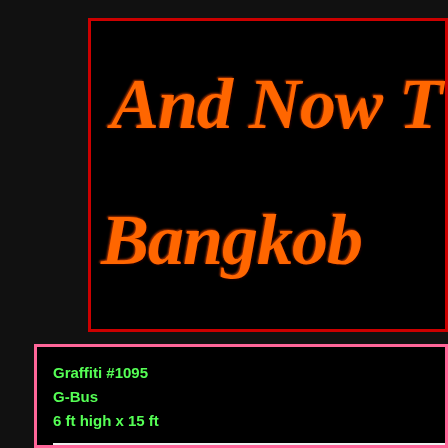And Now T... Bangkok...
Graffiti #1095
G-Bus
6 ft high x 15 ft
[Figure (photo): Graffiti artwork photo showing colorful graffiti letters on a bus, in blue with purple/flame background]